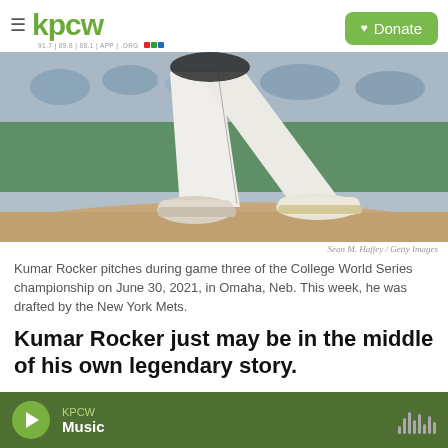kpcw | Donate
[Figure (photo): Baseball pitcher's legs mid-pitch on a mound, wearing white uniform, at a stadium with green outfield wall and fans in background]
Sean M. Haffey / Getty Images
Kumar Rocker pitches during game three of the College World Series championship on June 30, 2021, in Omaha, Neb. This week, he was drafted by the New York Mets.
Kumar Rocker just may be in the middle of his own legendary story.
KPCW Music